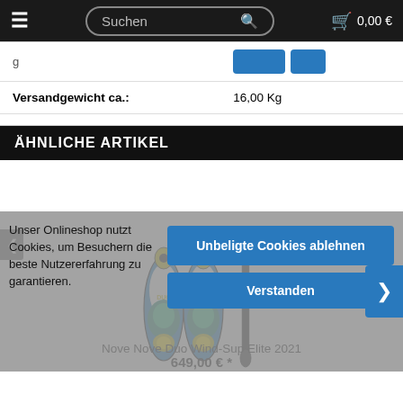≡  Suchen 🔍  🛒 0,00 €
| (partial row with buttons) |  |
| Versandgewicht ca.: | 16,00 Kg |
Ähnliche Artikel
[Figure (photo): Nove Nove Duo Wind-Sup Elite 2021 product image — two surfboard-style SUP boards and a paddle shown vertically]
Nove Nove Duo Wind-Sup Elite 2021
649,00 € *
Unser Onlineshop nutzt Cookies, um Besuchern die beste Nutzererfahrung zu garantieren.
Unbegütigte Cookies ablehnen
Verstanden